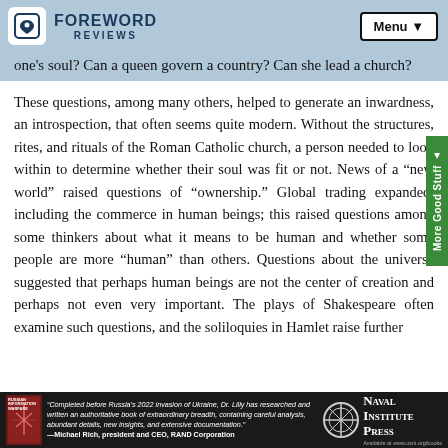FOREWORD REVIEWS
one's soul? Can a queen govern a country? Can she lead a church?
These questions, among many others, helped to generate an inwardness, an introspection, that often seems quite modern. Without the structures, rites, and rituals of the Roman Catholic church, a person needed to look within to determine whether their soul was fit or not. News of a “new world” raised questions of “ownership.” Global trading expanded, including the commerce in human beings; this raised questions among some thinkers about what it means to be human and whether some people are more “human” than others. Questions about the universe suggested that perhaps human beings are not the center of creation and perhaps not even very important. The plays of Shakespeare often examine such questions, and the soliloquies in Hamlet raise further
[Figure (other): Naval Institute Press advertisement banner with book image and quote from Michael Rich, president and CEO, RAND Corporation]